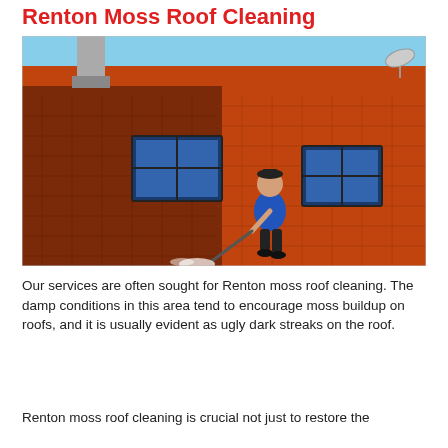Renton Moss Roof Cleaning
[Figure (photo): A person wearing a blue shirt and dark shorts using a pressure washer to clean orange/terracotta roof tiles. Two skylight windows are visible on the roof. The left portion of the roof appears darker/wet while the right portion shows the clean dry tile color.]
Our services are often sought for Renton moss roof cleaning. The damp conditions in this area tend to encourage moss buildup on roofs, and it is usually evident as ugly dark streaks on the roof.
Renton moss roof cleaning is crucial not just to restore the